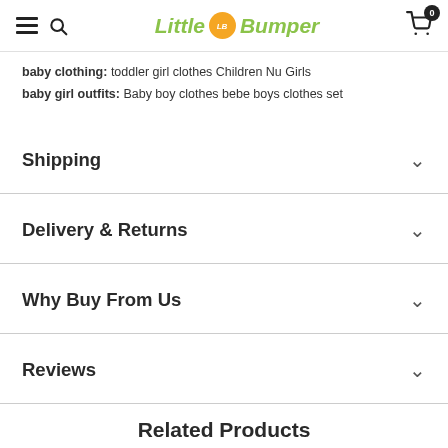Little LB Bumper [navigation header with cart]
baby clothing: toddler girl clothes Children Nu Girls
baby girl outfits: Baby boy clothes bebe boys clothes set
Shipping
Delivery & Returns
Why Buy From Us
Reviews
Related Products